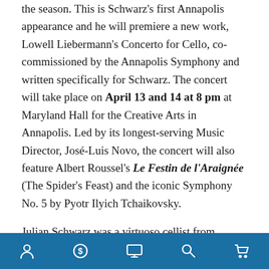the season. This is Schwarz's first Annapolis appearance and he will premiere a new work, Lowell Liebermann's Concerto for Cello, co-commissioned by the Annapolis Symphony and written specifically for Schwarz. The concert will take place on April 13 and 14 at 8 pm at Maryland Hall for the Creative Arts in Annapolis. Led by its longest-serving Music Director, José-Luis Novo, the concert will also feature Albert Roussel's Le Festin de l'Araignée (The Spider's Feast) and the iconic Symphony No. 5 by Pyotr Ilyich Tchaikovsky.
Julian Schwarz was a virtuoso cellist from childhood, delighting audiences since his concert debut at age 11 with the Seattle Symphony. Since then, he has appeared with the San Diego, Puerto Rico, Hartford, Charlotte, Columbus, San Antonio, Sarasota, Grand Rapids and Wichita symphonies, as well as the Louisville Orchestra, Chicago Symphony, and...